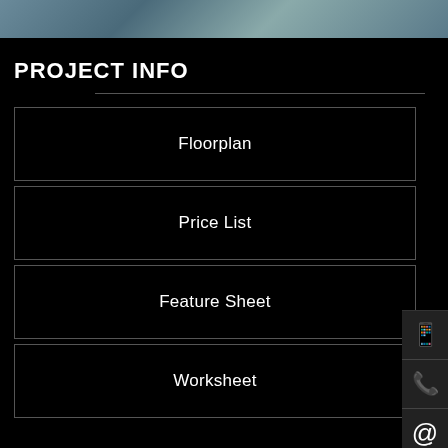[Figure (photo): Aerial or architectural photo strip at top of page showing water and building structures]
PROJECT INFO
Floorplan
Price List
Feature Sheet
Worksheet